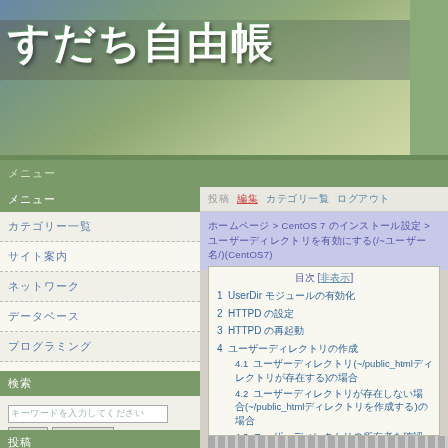[Figure (screenshot): Japanese blog website header with banner image showing books/calculator and Japanese title text すだち自由帳]
すだち自由帳
メニュー
カテゴリー一覧
サイト案内
ネットワーク
データベース
プログラミング
その他
検索
キーワードを入力してください
検索 / リセット
投稿 / 編集 / カテゴリ一覧 / ログアウト
ホームページ > CentOS 7 のインストール設定 > ユーザーディレクトリを有効にする(/~ユーザー名/)(CentOS7)
| 目次 | 非表示 |
| --- | --- |
| 1 | UserDir モジュールの有効化 |
| 2 | HTTPD の設定 |
| 3 | HTTPD の再起動 |
| 4 | ユーザーディレクトリの作成 |
| 4.1 | ユーザーディレクトリ(~/public_htmlディレクトリが存在する)の場合 |
| 4.2 | ユーザーディレクトリが存在しない場合(~/public_htmlディレクトリを作成する)の場合 |
| 4.3 | ユーザーディレクトリの所有者を確認してみる |
| 4.4 | ユーザーディレクトリの所有者を確認してみる |